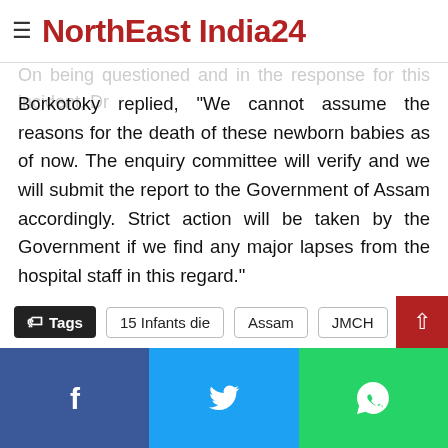NorthEast India24
On being questioned and in the response for this incident, Dr Borkotoky replied, "We cannot assume the reasons for the death of these newborn babies as of now. The enquiry committee will verify and we will submit the report to the Government of Assam accordingly. Strict action will be taken by the Government if we find any major lapses from the hospital staff in this regard."
He further stated that due to the shortage of staffs can be one kind of reason when there is a large scale rush of patients in the hospital. “So far there is no lapse from ICU Department,” Dr Borkotoky added.
Tags   15 Infants die   Assam   JMCH